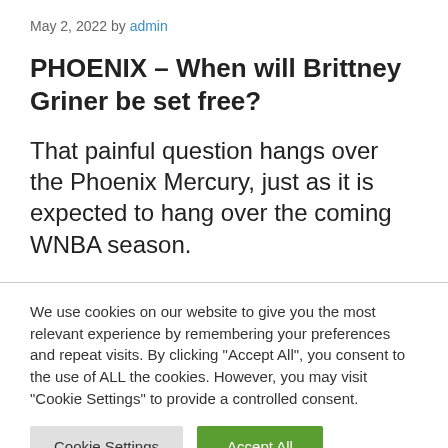May 2, 2022 by admin
PHOENIX – When will Brittney Griner be set free?
That painful question hangs over the Phoenix Mercury, just as it is expected to hang over the coming WNBA season.
We use cookies on our website to give you the most relevant experience by remembering your preferences and repeat visits. By clicking “Accept All”, you consent to the use of ALL the cookies. However, you may visit "Cookie Settings" to provide a controlled consent.